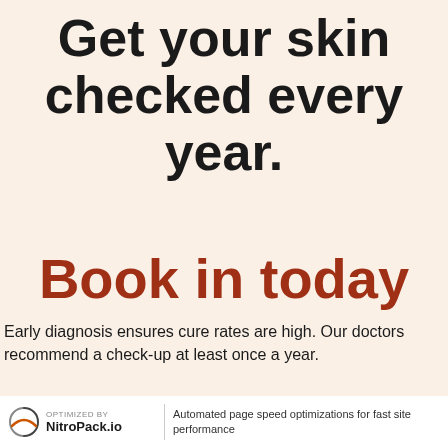Get your skin checked every year.
Book in today
Early diagnosis ensures cure rates are high. Our doctors recommend a check-up at least once a year.
Contact Us
OPTIMIZED BY NitroPack.io | Automated page speed optimizations for fast site performance